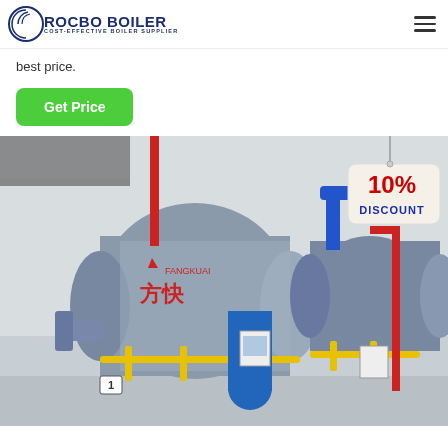ROCBO BOILER COST-EFFECTIVE BOILER SUPPLIER
best price.
Get Price
[Figure (photo): Industrial boiler room with large horizontal steam boilers, yellow gas pipes, red pipes, blue pipes, and Chinese text '方快' on the boiler body. A 10% discount badge hangs in the upper right corner of the image.]